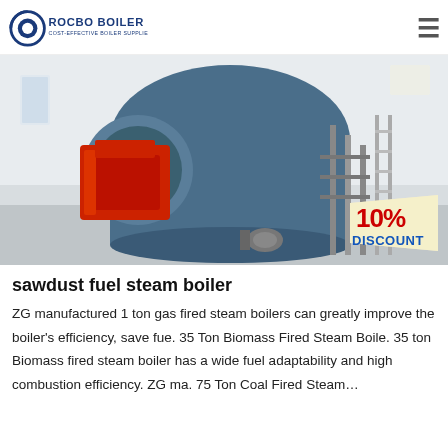ROCBO BOILER – COST-EFFECTIVE BOILER SUPPLIER
[Figure (photo): Industrial steam boiler (large blue cylindrical vessel with red burner unit) in a factory setting, with a 10% DISCOUNT badge overlaid in the bottom-right corner.]
sawdust fuel steam boiler
ZG manufactured 1 ton gas fired steam boilers can greatly improve the boiler's efficiency, save fue. 35 Ton Biomass Fired Steam Boile. 35 ton Biomass fired steam boiler has a wide fuel adaptability and high combustion efficiency. ZG ma. 75 Ton Coal Fired Steam…